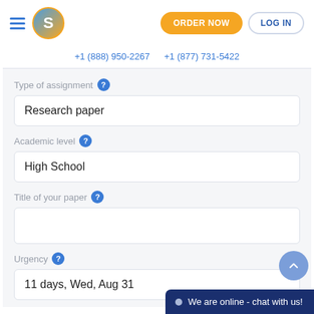ORDER NOW  LOG IN
+1 (888) 950-2267  +1 (877) 731-5422
Type of assignment
Research paper
Academic level
High School
Title of your paper
Urgency
11 days, Wed, Aug 31
We are online - chat with us!